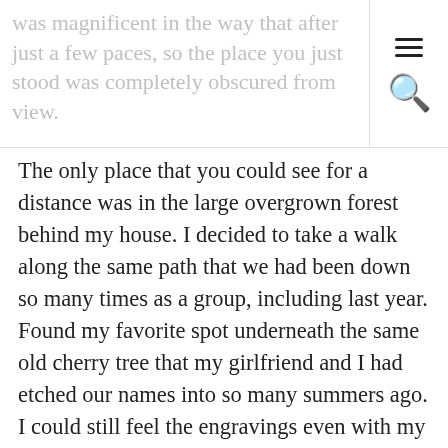was magnificent in the way that after just a few paces, so the place you just stood was completely obscured from view.
The only place that you could see for a distance was in the large overgrown forest behind my house. I decided to take a walk along the same path that we had been down so many times as a group, including last year. Found my favorite spot underneath the same old cherry tree that my girlfriend and I had etched our names into so many summers ago. I could still feel the engravings even with my numb fingers as I ran my flush hand over the icy trunk of the tree. It seemed that I was reliving my memories of her in this sacred place in the new snowy landscape. She was running through my mind with random flashes of moments in time where she and I had once been so happy together and in love. Each bat of our eyes